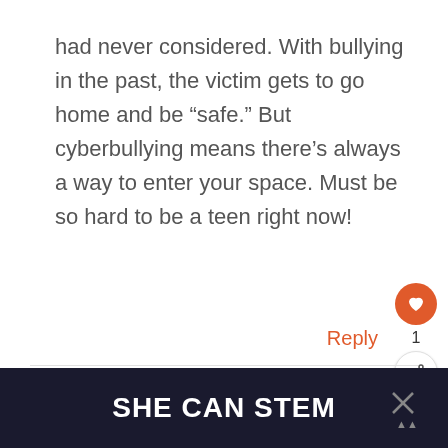had never considered. With bullying in the past, the victim gets to go home and be “safe.” But cyberbullying means there’s always a way to enter your space. Must be so hard to be a teen right now!
Reply
SHE CAN STEM